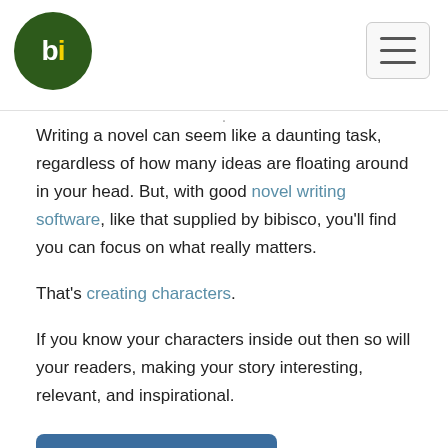bibisco logo and navigation
Writing a novel can seem like a daunting task, regardless of how many ideas are floating around in your head. But, with good novel writing software, like that supplied by bibisco, you'll find you can focus on what really matters.
That's creating characters.
If you know your characters inside out then so will your readers, making your story interesting, relevant, and inspirational.
[Figure (other): Share on Facebook button]